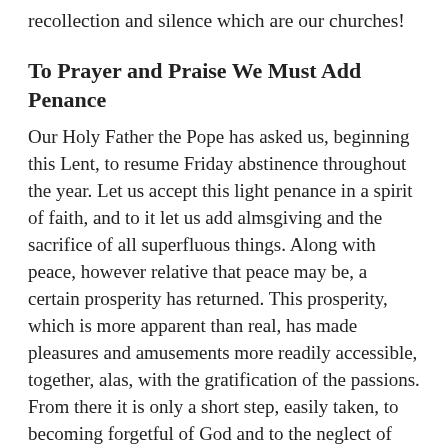recollection and silence which are our churches!
To Prayer and Praise We Must Add Penance
Our Holy Father the Pope has asked us, beginning this Lent, to resume Friday abstinence throughout the year. Let us accept this light penance in a spirit of faith, and to it let us add almsgiving and the sacrifice of all superfluous things. Along with peace, however relative that peace may be, a certain prosperity has returned. This prosperity, which is more apparent than real, has made pleasures and amusements more readily accessible, together, alas, with the gratification of the passions. From there it is only a short step, easily taken, to becoming forgetful of God and to the neglect of one's duties towards Him. Material wealth in the hands of the virtuous and the charitable is a source of great merits, but a soul enslaved by the senses is led by such wealth to licentiousness and spiritual blindness. Do we not see proof of this all around us in the world and those who follow its pernicious counsels?
My dear brethren, during this penitential season, let us take care to observe moderation and discretion at all celebrations and social